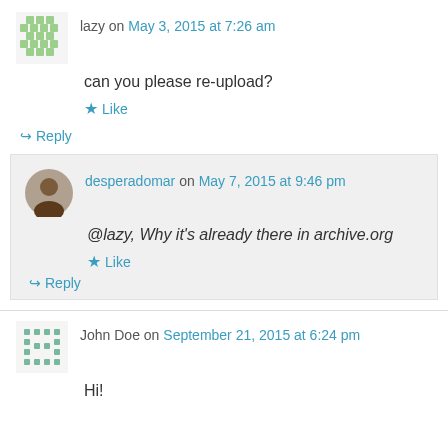lazy on May 3, 2015 at 7:26 am
can you please re-upload?
★ Like
↪ Reply
desperadomar on May 7, 2015 at 9:46 pm
@lazy, Why it's already there in archive.org
★ Like
↪ Reply
John Doe on September 21, 2015 at 6:24 pm
Hi!